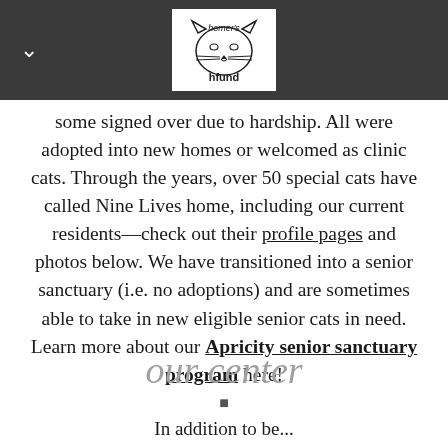homer's fund logo and navigation
some signed over due to hardship. All were adopted into new homes or welcomed as clinic cats. Through the years, over 50 special cats have called Nine Lives home, including our current residents—check out their profile pages and photos below. We have transitioned into a senior sanctuary (i.e. no adoptions) and are sometimes able to take in new eligible senior cats in need. Learn more about our Apricity senior sanctuary program here!
our center
In addition to be...